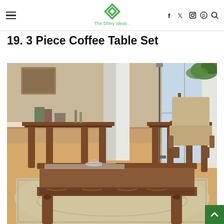The Shiny Ideas
19. 3 Piece Coffee Table Set
[Figure (photo): A 3 piece coffee table set with ornately carved dark wood legs and glass/marble tops, displayed in a living room setting with hardwood floors, a rug, and beige armchair in the background.]